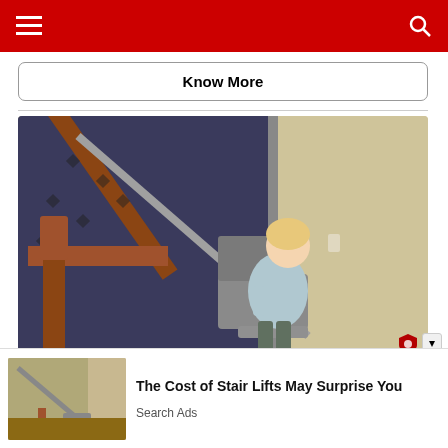Navigation header bar with hamburger menu and search icon
Know More
[Figure (photo): Woman seated on a stair lift chair on a carpeted staircase inside a home, smiling at the camera. The stair lift has a grey seat and rail mechanism. The staircase has a wooden banister.]
The Cost of Stair Lifts May Surprise You
[Figure (photo): Small thumbnail image of a stair lift at the bottom of a staircase]
The Cost of Stair Lifts May Surprise You
Search Ads